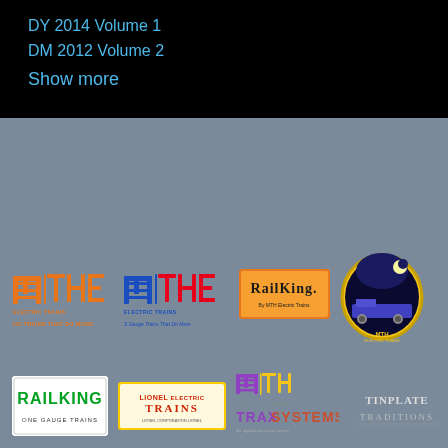DY 2014 Volume 1
DM 2012 Volume 2
Show more
[Figure (logo): MTH Electric Trains HO logo - orange stylized MTH letters with text 'HO TRAINS THAT DO MORE']
[Figure (logo): MTH Electric Trains S Gauge logo - blue stylized MTH letters with text 'S Gauge Trains That Do More']
[Figure (logo): RailKing by MTH Electric Trains logo - orange rectangle with RailKing text]
[Figure (logo): MTH Electric Trains circular badge logo with train scene on dark night background]
[Figure (logo): RailKing One Gauge Trains logo - green text on white background]
[Figure (logo): Lionel Electric Trains logo - orange and red text]
[Figure (logo): MTH Electric Trains TraX Systems logo - purple/yellow stylized MTH with TraX Systems text]
[Figure (logo): Tinplate Traditions logo - dark text on gray]
[Figure (logo): DCS logo - purple italic DCS with yellow arc and text 'Simply the best way to run a railroad']